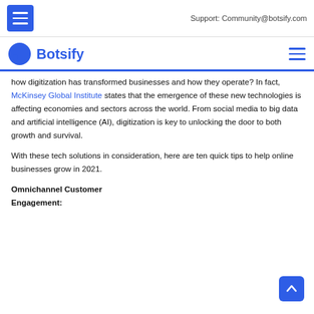Support: Community@botsify.com
[Figure (logo): Botsify logo with blue circle speech bubble icon and text 'Botsify' in blue]
how digitization has transformed businesses and how they operate? In fact, McKinsey Global Institute states that the emergence of these new technologies is affecting economies and sectors across the world. From social media to big data and artificial intelligence (AI), digitization is key to unlocking the door to both growth and survival.
With these tech solutions in consideration, here are ten quick tips to help online businesses grow in 2021.
Omnichannel Customer Engagement: